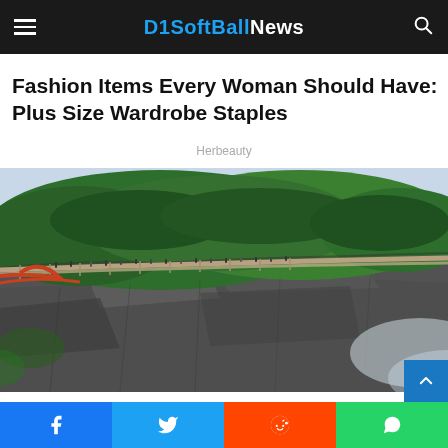D1SoftballNews
Fashion Items Every Woman Should Have: Plus Size Wardrobe Staples
Herbeauty
[Figure (photo): Aerial view of a scenic cliffside walkway with green tree-covered top and people walking along a glass/metal path on the edge of a dramatic rocky cliff, with misty mountains in the background]